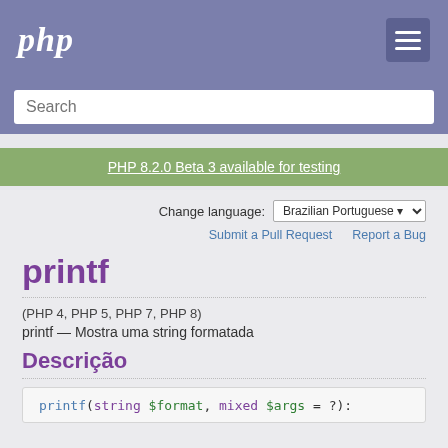php
Search
PHP 8.2.0 Beta 3 available for testing
Change language: Brazilian Portuguese
Submit a Pull Request   Report a Bug
printf
(PHP 4, PHP 5, PHP 7, PHP 8)
printf — Mostra uma string formatada
Descrição